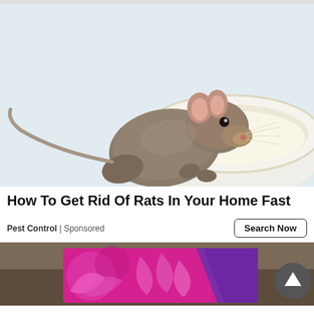[Figure (photo): A rat/mouse drinking from a white bowl filled with milk, on a light blue-white background.]
How To Get Rid Of Rats In Your Home Fast
Pest Control | Sponsored
[Figure (photo): Bottom section showing a partial advertisement with pink and purple decorative design, and a dark scroll-to-top button.]